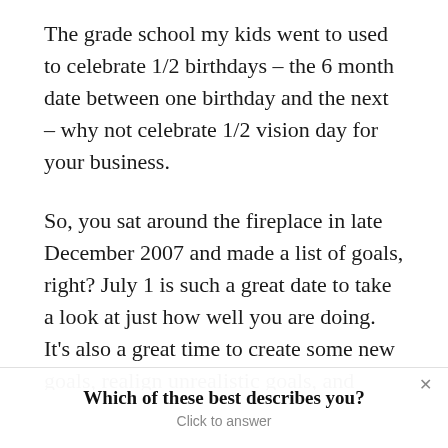The grade school my kids went to used to celebrate 1/2 birthdays – the 6 month date between one birthday and the next – why not celebrate 1/2 vision day for your business.
So, you sat around the fireplace in late December 2007 and made a list of goals, right? July 1 is such a great date to take a look at just how well you are doing. It's also a great time to create some new goals, realign unrealistic goals, and create a list of action steps that will point you towards realizing your
Which of these best describes you?
Click to answer